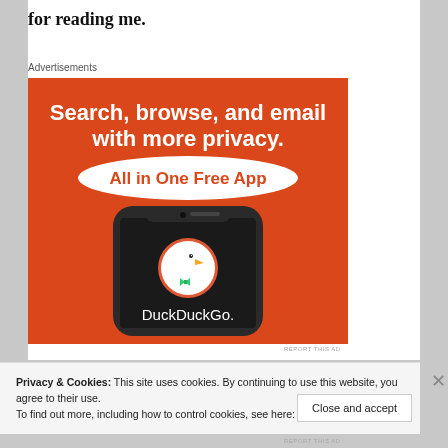for reading me.
Advertisements
[Figure (illustration): DuckDuckGo advertisement: orange background with white bold text 'Search, browse, and email with more privacy.' and a brushstroke button reading 'All in One Free App'. Below is a smartphone showing the DuckDuckGo app with duck logo and text 'DuckDuckGo.']
REPORT THIS AD
Privacy & Cookies: This site uses cookies. By continuing to use this website, you agree to their use.
To find out more, including how to control cookies, see here: Cookie Policy
Close and accept